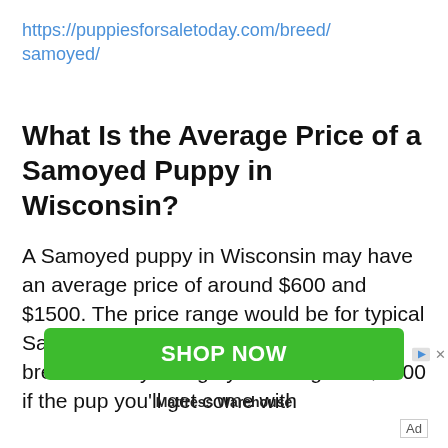https://puppiesforsaletoday.com/breed/samoyed/
What Is the Average Price of a Samoyed Puppy in Wisconsin?
A Samoyed puppy in Wisconsin may have an average price of around $600 and $1500. The price range would be for typical Samoyed breeders in Wisconsin. Some breeders may charge you as high as $3000 if the pup you'll get come with
[Figure (other): Green 'SHOP NOW' advertisement banner with play and close icons, attributed to Mattress Warehouse]
Mattress Warehouse
Ad